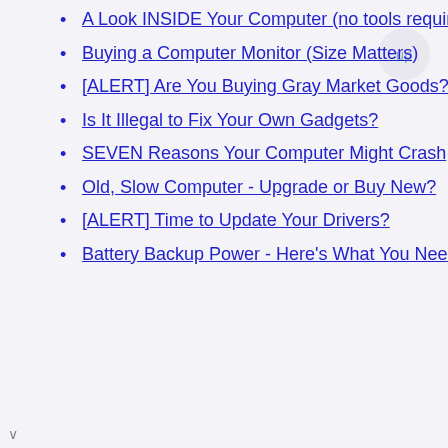A Look INSIDE Your Computer (no tools required)
Buying a Computer Monitor (Size Matters)
[ALERT] Are You Buying Gray Market Goods?
Is It Illegal to Fix Your Own Gadgets?
SEVEN Reasons Your Computer Might Crash
Old, Slow Computer - Upgrade or Buy New?
[ALERT] Time to Update Your Drivers?
Battery Backup Power - Here's What You Need to Know